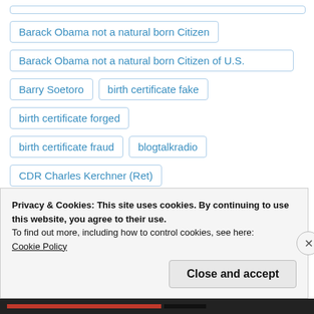Barack Obama not a natural born Citizen
Barack Obama not a natural born Citizen of U.S.
Barry Soetoro
birth certificate fake
birth certificate forged
birth certificate fraud
blogtalkradio
CDR Charles Kerchner (Ret)
CDR Kerchner (Ret)
Privacy & Cookies: This site uses cookies. By continuing to use this website, you agree to their use.
To find out more, including how to control cookies, see here:
Cookie Policy
Close and accept